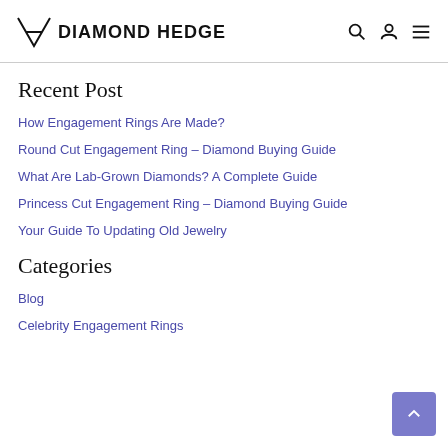DH DIAMOND HEDGE
Recent Post
How Engagement Rings Are Made?
Round Cut Engagement Ring – Diamond Buying Guide
What Are Lab-Grown Diamonds? A Complete Guide
Princess Cut Engagement Ring – Diamond Buying Guide
Your Guide To Updating Old Jewelry
Categories
Blog
Celebrity Engagement Rings